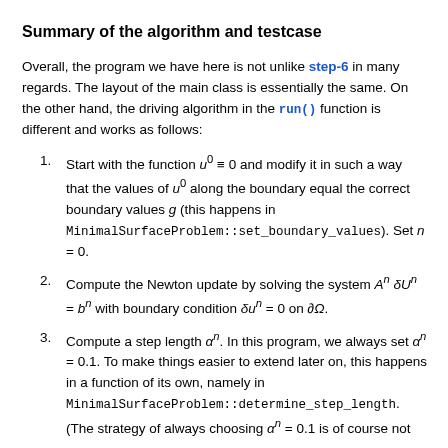Summary of the algorithm and testcase
Overall, the program we have here is not unlike step-6 in many regards. The layout of the main class is essentially the same. On the other hand, the driving algorithm in the run() function is different and works as follows:
1. Start with the function u^0 ≡ 0 and modify it in such a way that the values of u^0 along the boundary equal the correct boundary values g (this happens in MinimalSurfaceProblem::set_boundary_values). Set n = 0.
2. Compute the Newton update by solving the system A^n δU^n = b^n with boundary condition δu^n = 0 on ∂Ω.
3. Compute a step length α^n. In this program, we always set α^n = 0.1. To make things easier to extend later on, this happens in a function of its own, namely in MinimalSurfaceProblem::determine_step_length. (The strategy of always choosing α^n = 0.1 is of course not